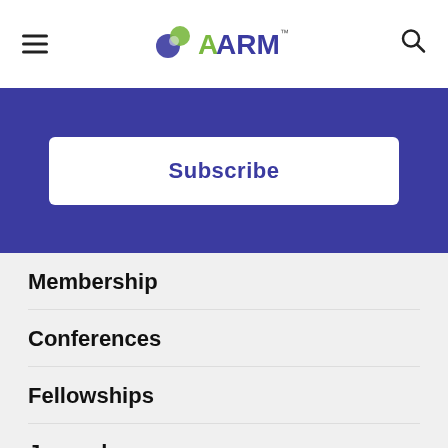AARM
Subscribe
Membership
Conferences
Fellowships
Journal
Store